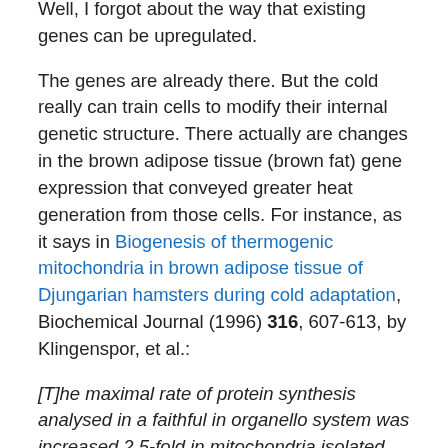Well, I forgot about the way that existing genes can be upregulated.
The genes are already there. But the cold really can train cells to modify their internal genetic structure. There actually are changes in the brown adipose tissue (brown fat) gene expression that conveyed greater heat generation from those cells. For instance, as it says in Biogenesis of thermogenic mitochondria in brown adipose tissue of Djungarian hamsters during cold adaptation, Biochemical Journal (1996) 316, 607-613, by Klingenspor, et al.:
[T]he maximal rate of protein synthesis analysed in a faithful in organello system was increased 2.5-fold in mitochondria isolated from BAT after 7 days of cold exposure. We conclude from these data that the